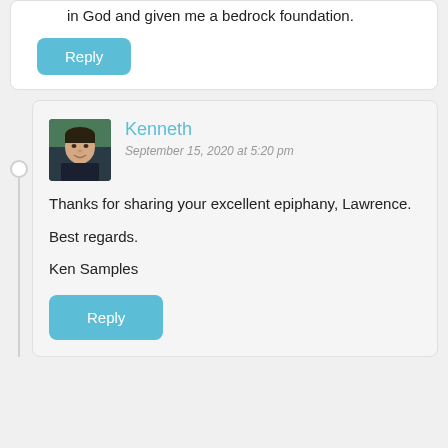in God and given me a bedrock foundation.
Reply
[Figure (photo): Profile photo of Kenneth - a man in a dark shirt with trees in background]
Kenneth
September 15, 2020 at 5:20 pm
Thanks for sharing your excellent epiphany, Lawrence.

Best regards.

Ken Samples
Reply